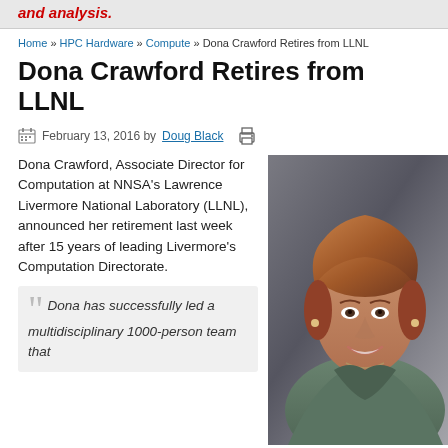and analysis.
Home » HPC Hardware » Compute » Dona Crawford Retires from LLNL
Dona Crawford Retires from LLNL
February 13, 2016 by Doug Black
Dona Crawford, Associate Director for Computation at NNSA's Lawrence Livermore National Laboratory (LLNL), announced her retirement last week after 15 years of leading Livermore's Computation Directorate.
"Dona has successfully led a multidisciplinary 1000-person team that
[Figure (photo): Professional portrait photo of Dona Crawford, a woman with short reddish-brown hair, smiling, wearing a gray-green jacket, against a gray gradient background.]